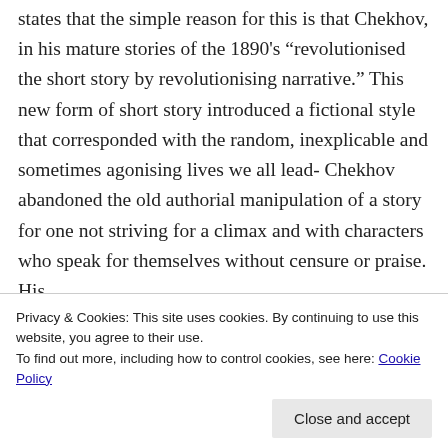states that the simple reason for this is that Chekhov, in his mature stories of the 1890's "revolutionised the short story by revolutionising narrative." This new form of short story introduced a fictional style that corresponded with the random, inexplicable and sometimes agonising lives we all lead- Chekhov abandoned the old authorial manipulation of a story for one not striving for a climax and with characters who speak for themselves without censure or praise. His
Privacy & Cookies: This site uses cookies. By continuing to use this website, you agree to their use.
To find out more, including how to control cookies, see here: Cookie Policy